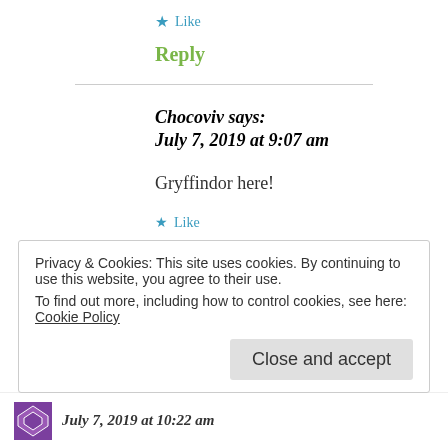★ Like
Reply
Chocoviv says: July 7, 2019 at 9:07 am
Gryffindor here!
★ Like
Privacy & Cookies: This site uses cookies. By continuing to use this website, you agree to their use.
To find out more, including how to control cookies, see here: Cookie Policy
Close and accept
July 7, 2019 at 10:22 am